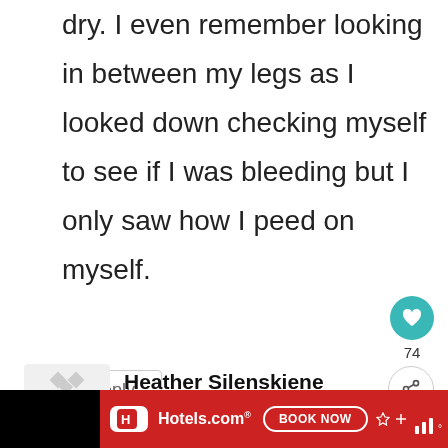dry. I even remember looking in between my legs as I looked down checking myself to see if I was bleeding but I only saw how I peed on myself.
Reply
Heather Silenskiene says: March 28, 2021 at 1:04 pm
[Figure (screenshot): Hotels.com advertisement banner with red background, Hotels.com logo and BOOK NOW button]